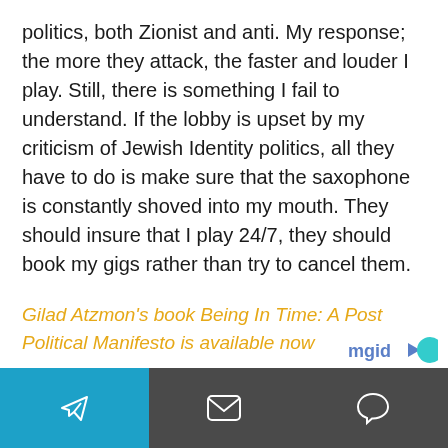politics, both Zionist and anti. My response; the more they attack, the faster and louder I play. Still, there is something I fail to understand. If the lobby is upset by my criticism of Jewish Identity politics, all they have to do is make sure that the saxophone is constantly shoved into my mouth. They should insure that I play 24/7, they should book my gigs rather than try to cancel them.
Gilad Atzmon's book Being In Time: A Post Political Manifesto is available now
[Figure (logo): mgid logo with arrow and teal circle]